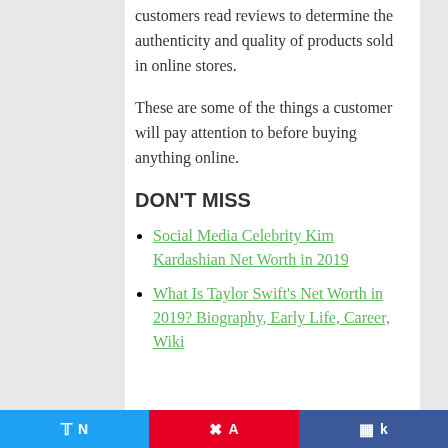customers read reviews to determine the authenticity and quality of products sold in online stores.
These are some of the things a customer will pay attention to before buying anything online.
DON'T MISS
Social Media Celebrity Kim Kardashian Net Worth in 2019
What Is Taylor Swift's Net Worth in 2019? Biography, Early Life, Career, Wiki
Twitter  Pinterest  Facebook